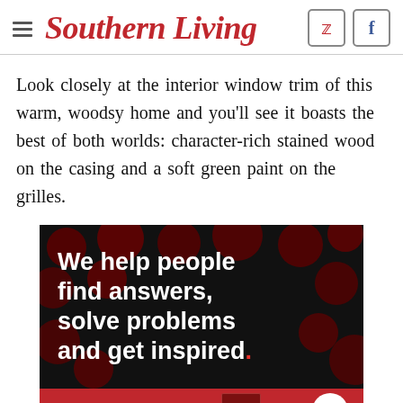Southern Living
Look closely at the interior window trim of this warm, woodsy home and you'll see it boasts the best of both worlds: character-rich stained wood on the casing and a soft green paint on the grilles.
[Figure (illustration): Advertisement with dark background and bokeh dots reading 'We help people find answers, solve problems and get inspired.' with a red period. Below is a red banner for '2022 Christmas with Southern Living' book published by Abrams.]